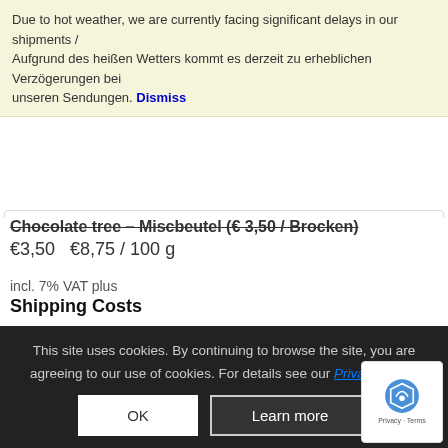Due to hot weather, we are currently facing significant delays in our shipments / Aufgrund des heißen Wetters kommt es derzeit zu erheblichen Verzögerungen bei unseren Sendungen. Dismiss
Chocolateree – Miscbeutel (€3,50 €8,75 / 100 g)
€3,50 €8,75 / 100 g
incl. 7% VAT plus
Shipping Costs
Add to cart
Show Details
1 2 3
This site uses cookies. By continuing to browse the site, you are agreeing to our use of cookies. For details see our Privacy Policy
OK
Learn more